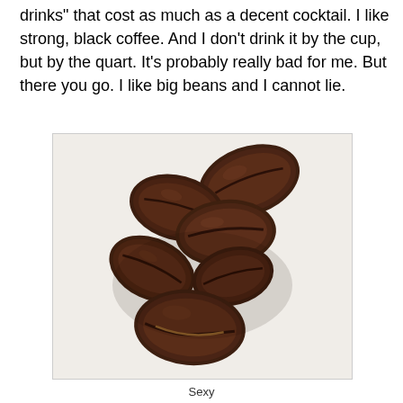drinks" that cost as much as a decent cocktail. I like strong, black coffee. And I don't drink it by the cup, but by the quart. It's probably really bad for me. But there you go. I like big beans and I cannot lie.
[Figure (photo): A photograph of several dark roasted coffee beans arranged in a loose pile against a white/light background.]
Sexy